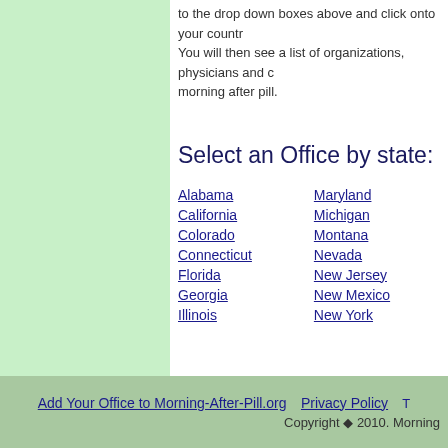to the drop down boxes above and click onto your countr... You will then see a list of organizations, physicians and c... morning after pill.
Select an Office by state:
Alabama
California
Colorado
Connecticut
Florida
Georgia
Illinois
Maryland
Michigan
Montana
Nevada
New Jersey
New Mexico
New York
Add Your Office to Morning-After-Pill.org   Privacy Policy   T   Copyright © 2010. Morning